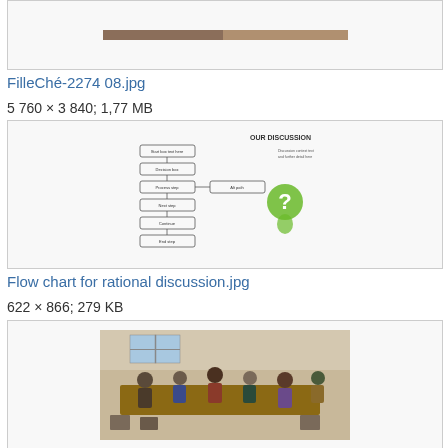[Figure (photo): Partial photo visible at top, cropped]
FilleChe-2274 08.jpg
5 760 × 3 840; 1,77 MB
[Figure (flowchart): Flow chart for rational discussion with boxes and a green question mark figure]
Flow chart for rational discussion.jpg
622 × 866; 279 KB
[Figure (photo): Photo of people sitting around a table in a meeting room]